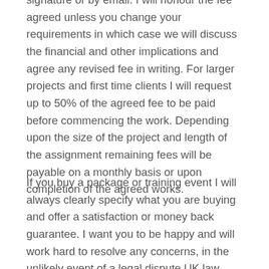signature or by email. I will honour the fee agreed unless you change your requirements in which case we will discuss the financial and other implications and agree any revised fee in writing. For larger projects and first time clients I will request up to 50% of the agreed fee to be paid before commencing the work. Depending upon the size of the project and length of the assignment remaining fees will be payable on a monthly basis or upon completion of the agreed works.
If you buy a package or training event I will always clearly specify what you are buying and offer a satisfaction or money back guarantee. I want you to be happy and will work hard to resolve any concerns, in the unlikely event of a legal dispute UK law applies